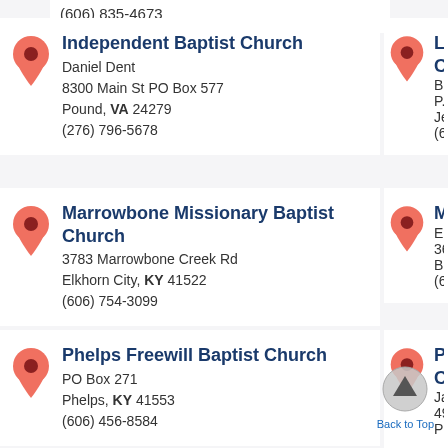(606) 835-4673
(___) ___-____
Independent Baptist Church
Daniel Dent
8300 Main St PO Box 577
Pound, VA 24279
(276) 796-5678
Letcher B... Church
Bill Jones
P.O. Box 81
Jeremiah, KY
(606) 633-80...
Marrowbone Missionary Baptist Church
3783 Marrowbone Creek Rd
Elkhorn City, KY 41522
(606) 754-3099
Middle C...
Eugene Coo...
3686 Ky Rou...
Blue River, K...
(606) 889-64...
Phelps Freewill Baptist Church
PO Box 271
Phelps, KY 41553
(606) 456-8584
Pikeville... Church
James Batto...
494 Chloe R...
Pikeville, KY...